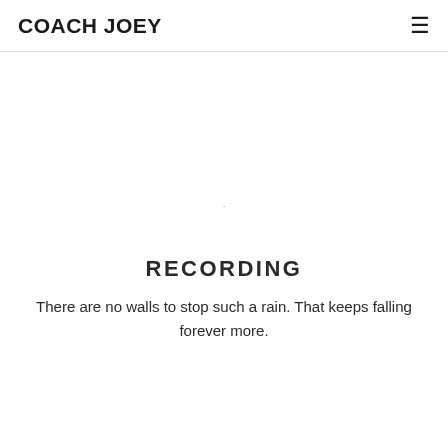COACH JOEY
.
RECORDING
There are no walls to stop such a rain. That keeps falling forever more.